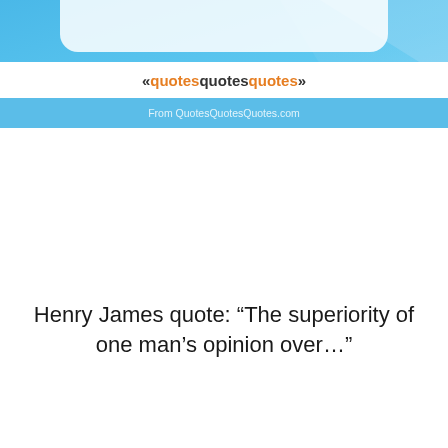[Figure (illustration): A blue-themed banner image with a light blue/sky blue background with geometric shapes and a white curved card shape. In the center is a white bar with the text '«quotesquotesquotes»' where 'quotes' is in orange and the surrounding text is dark, and below that smaller gray text reading 'From QuotesQuotesQuotes.com'.]
Henry James quote: “The superiority of one man’s opinion over…”